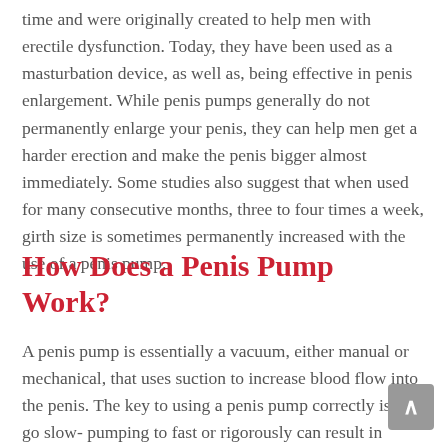time and were originally created to help men with erectile dysfunction. Today, they have been used as a masturbation device, as well as, being effective in penis enlargement. While penis pumps generally do not permanently enlarge your penis, they can help men get a harder erection and make the penis bigger almost immediately. Some studies also suggest that when used for many consecutive months, three to four times a week, girth size is sometimes permanently increased with the use of a penis pump.
How Does a Penis Pump Work?
A penis pump is essentially a vacuum, either manual or mechanical, that uses suction to increase blood flow into the penis. The key to using a penis pump correctly is to go slow- pumping to fast or rigorously can result in blistering or broken blood vessels in the penis. However,